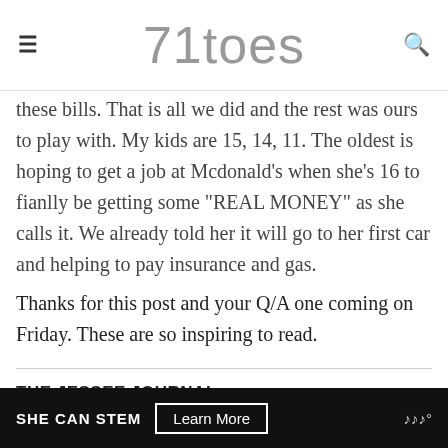71toes
these bills. That is all we did and the rest was ours to play with. My kids are 15, 14, 11. The oldest is hoping to get a job at Mcdonald's when she's 16 to fianlly be getting some "REAL MONEY" as she calls it. We already told her it will go to her first car and helping to pay insurance and gas.
Thanks for this post and your Q/A one coming on Friday. These are so inspiring to read.
THE JESSEE JOURNAL
November 7, 2012 - 2:48 pm
Ok, my oldest turns 8 next year and I find myself thinking a LO...
SHE CAN STEM  Learn More